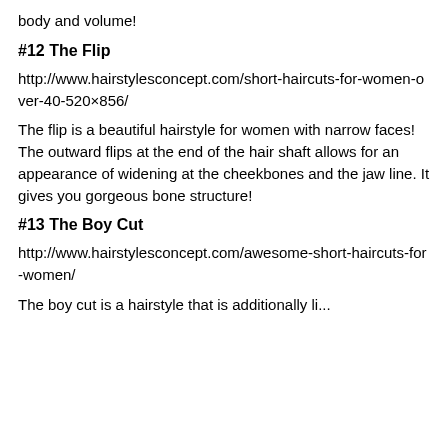body and volume!
#12 The Flip
http://www.hairstylesconcept.com/short-haircuts-for-women-over-40-520×856/
The flip is a beautiful hairstyle for women with narrow faces! The outward flips at the end of the hair shaft allows for an appearance of widening at the cheekbones and the jaw line. It gives you gorgeous bone structure!
#13 The Boy Cut
http://www.hairstylesconcept.com/awesome-short-haircuts-for-women/
The boy cut is a hairstyle that is...